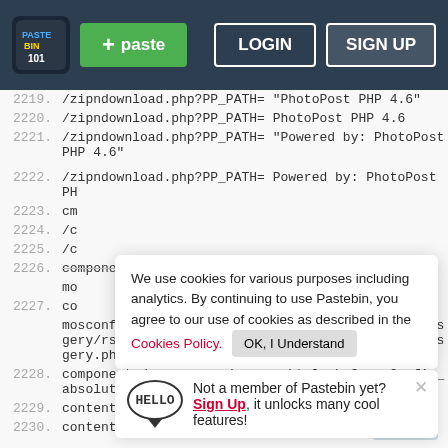Pastebin header with logo, paste button, login and sign up buttons
2219. /zipndownload.php?PP_PATH= "PhotoPost PHP 4.6"
2220. /zipndownload.php?PP_PATH= PhotoPost PHP 4.6
2221. /zipndownload.php?PP_PATH= "Powered by: PhotoPost PHP 4.6"
2222. /zipndownload.php?PP_PATH= Powered by: PhotoPost PH
2223. cm
2224. /c
2225. /c
2226. components/com_rsgery/rsgery.html.php?
mo
2227. co
mosconfig_absolute_path= rsgery components/com_rsgery/rsgery.html.php? mosConfig_absolute_path= rsgery.php
2228. components/com_rsgery/rsgery.html.php? mosConfig_absolute_path= rsgery.php
2229. content.php?inc= .php?inc="
2230. content.php?seite= content.php?seite=
Cookie banner: We use cookies for various purposes including analytics. By continuing to use Pastebin, you agree to our use of cookies as described in the Cookies Policy. OK, I Understand
Signup popup: Not a member of Pastebin yet? Sign Up, it unlocks many cool features!